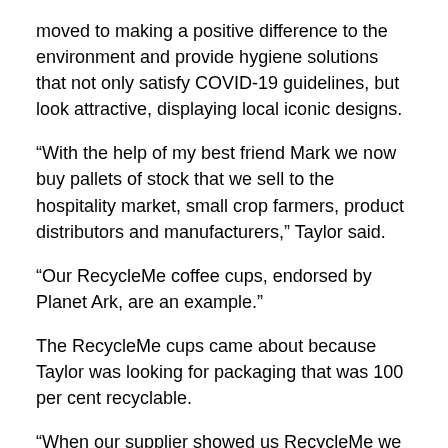moved to making a positive difference to the environment and provide hygiene solutions that not only satisfy COVID-19 guidelines, but look attractive, displaying local iconic designs.
“With the help of my best friend Mark we now buy pallets of stock that we sell to the hospitality market, small crop farmers, product distributors and manufacturers,” Taylor said.
“Our RecycleMe coffee cups, endorsed by Planet Ark, are an example.”
The RecycleMe cups came about because Taylor was looking for packaging that was 100 per cent recyclable.
“When our supplier showed us RecycleMe we dived in head first and could not be happier with the response.